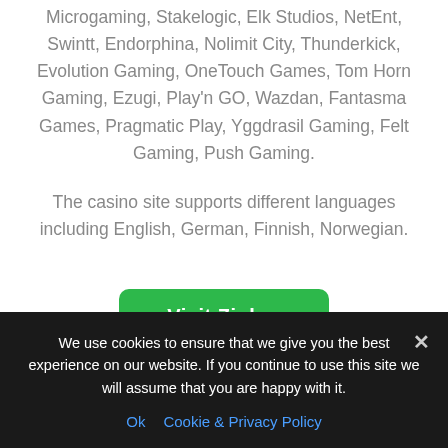Microgaming, Stakelogic, Elk Studios, NetEnt, Swintt, Endorphina, Nolimit City, Thunderkick, Evolution Gaming, OneTouch Games, Tom Horn Gaming, Ezugi, Play'n GO, Wazdan, Fantasma Games, Pragmatic Play, Yggdrasil Gaming, Felt Gaming, Push Gaming.
The casino site supports different languages including English, German, Finnish, Norwegian.
Visit Zinkra
T&C Apply
We use cookies to ensure that we give you the best experience on our website. If you continue to use this site we will assume that you are happy with it.
Ok  Cookie & Privacy Policy